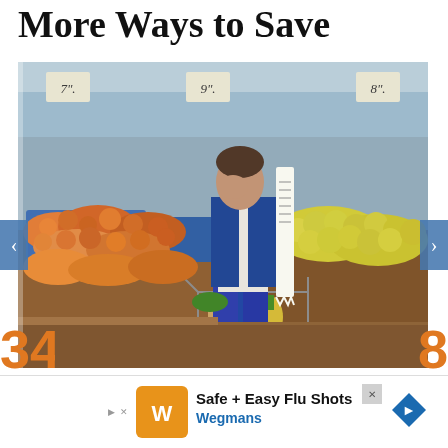More Ways to Save
[Figure (photo): Man in blue blazer standing in grocery store produce section with shopping cart full of groceries, holding his head in one hand and a long receipt in the other, surrounded by colorful fruits and vegetables]
Image Credit: RossHelen/ iStock.
Safe + Easy Flu Shots
Wegmans